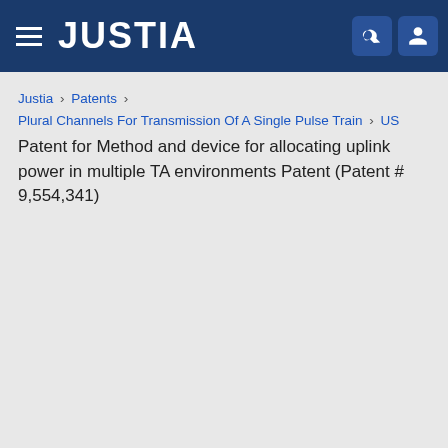JUSTIA
Justia › Patents › Plural Channels For Transmission Of A Single Pulse Train › US Patent for Method and device for allocating uplink power in multiple TA environments Patent (Patent # 9,554,341)